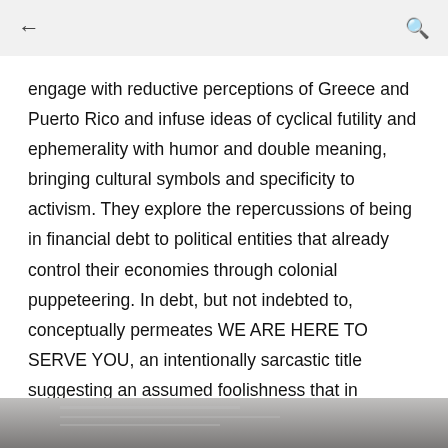← 🔍
engage with reductive perceptions of Greece and Puerto Rico and infuse ideas of cyclical futility and ephemerality with humor and double meaning, bringing cultural symbols and specificity to activism. They explore the repercussions of being in financial debt to political entities that already control their economies through colonial puppeteering. In debt, but not indebted to, conceptually permeates WE ARE HERE TO SERVE YOU, an intentionally sarcastic title suggesting an assumed foolishness that in actuality reveals our hyperconsciousness.
[Figure (photo): Partial view of a photograph at the bottom of the page, appearing to show an interior or architectural scene in grayscale.]